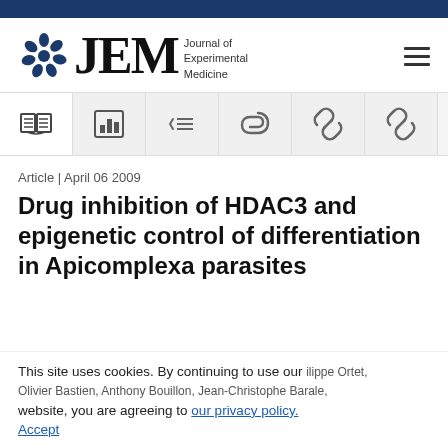[Figure (logo): JEM Journal of Experimental Medicine logo with decorative blue circular emblem]
[Figure (infographic): Toolbar with navigation icons: open book, bar chart, list with arrow, paperclip, chain links x2]
Article | April 06 2009
Drug inhibition of HDAC3 and epigenetic control of differentiation in Apicomplexa parasites
This site uses cookies. By continuing to use our website, you are agreeing to our privacy policy. Accept